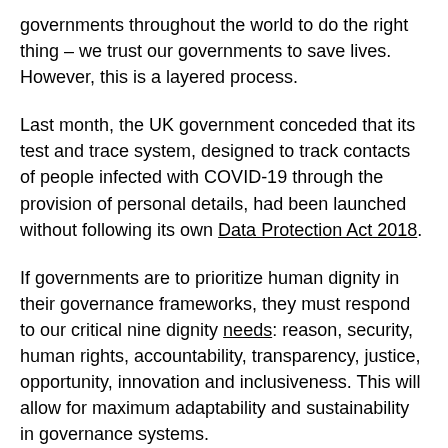governments throughout the world to do the right thing – we trust our governments to save lives. However, this is a layered process.
Last month, the UK government conceded that its test and trace system, designed to track contacts of people infected with COVID-19 through the provision of personal details, had been launched without following its own Data Protection Act 2018.
If governments are to prioritize human dignity in their governance frameworks, they must respond to our critical nine dignity needs: reason, security, human rights, accountability, transparency, justice, opportunity, innovation and inclusiveness. This will allow for maximum adaptability and sustainability in governance systems.
2. National security